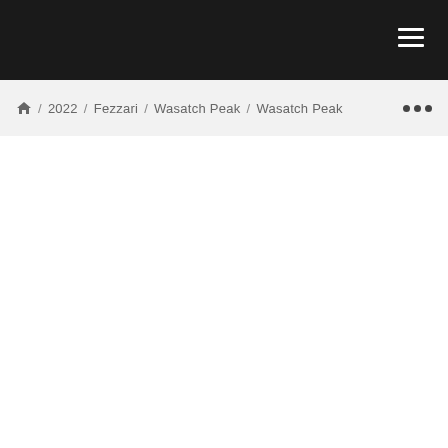Navigation header bar with hamburger menu
🏠 / 2022 / Fezzari / Wasatch Peak / Wasatch Peak ···